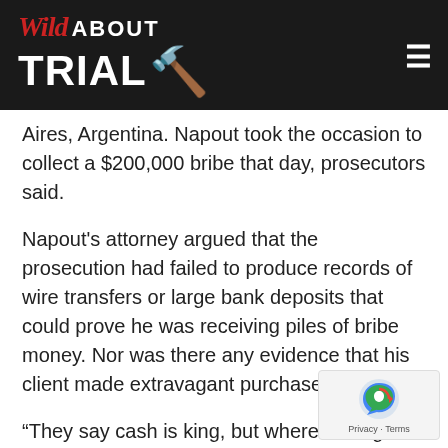Wild About Trial
Aires, Argentina. Napout took the occasion to collect a $200,000 bribe that day, prosecutors said.
Napout's attorney argued that the prosecution had failed to produce records of wire transfers or large bank deposits that could prove he was receiving piles of bribe money. Nor was there any evidence that his client made extravagant purchases, he said.
“They say cash is king, but where did it go?” Pappalardo said. “There was not one penny they could trace to Juan.”
The government’s star witness, Argentine businessman Alejandro Burzaco, should be viewed...